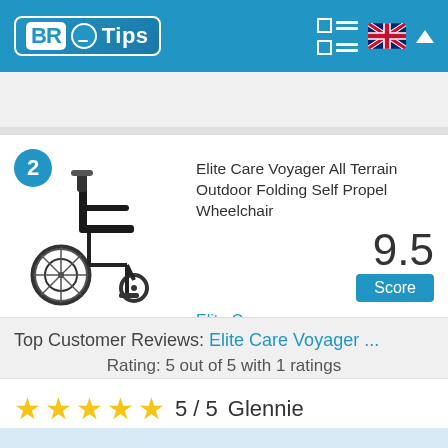BR Tips
[Figure (photo): Wheelchair product photo - Elite Care Voyager All Terrain Outdoor Folding Self Propel Wheelchair, black]
Elite Care Voyager All Terrain Outdoor Folding Self Propel Wheelchair
9.5
Score
Elite Care
Top Customer Reviews: Elite Care Voyager ...
Rating: 5 out of 5 with 1 ratings
5 / 5   Glennie